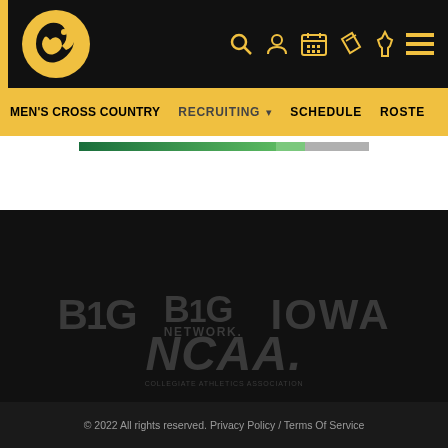[Figure (logo): University of Iowa Hawkeye athletic logo (black and gold hawk) in website header]
MEN'S CROSS COUNTRY | RECRUITING | SCHEDULE | ROSTE
[Figure (logo): B1G, B1G Network, and IOWA partner logos in dark footer]
[Figure (logo): NCAA logo in dark footer]
© 2022 All rights reserved. Privacy Policy / Terms Of Service